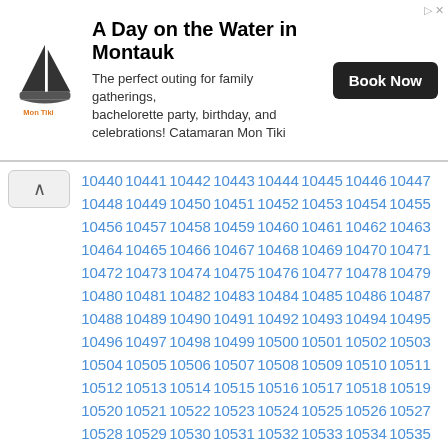[Figure (other): Advertisement banner for 'A Day on the Water in Montauk' featuring a sailboat logo, text description, and Book Now button]
10440 10441 10442 10443 10444 10445 10446 10447 10448 10449 10450 10451 10452 10453 10454 10455 10456 10457 10458 10459 10460 10461 10462 10463 10464 10465 10466 10467 10468 10469 10470 10471 10472 10473 10474 10475 10476 10477 10478 10479 10480 10481 10482 10483 10484 10485 10486 10487 10488 10489 10490 10491 10492 10493 10494 10495 10496 10497 10498 10499 10500 10501 10502 10503 10504 10505 10506 10507 10508 10509 10510 10511 10512 10513 10514 10515 10516 10517 10518 10519 10520 10521 10522 10523 10524 10525 10526 10527 10528 10529 10530 10531 10532 10533 10534 10535 10536 10537 10538 10539 10540 10541 10542 10543 10544 10545 10546 10547 10548 10549 10550 10551 10552 10553 10554 10555 10556 10557 10558 10559 10560 10561 10562 10563 10564 10565 10566 10567 10568 10569 10570 10571 10572 10573 10574 10575 10576 10577 10578 10579 10580 10581 10582 10583